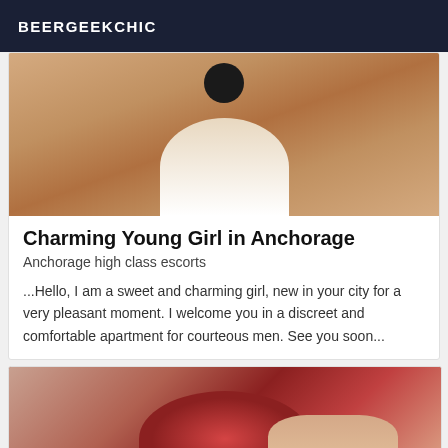BEERGEEKCHIC
[Figure (photo): Cropped photo of a person from behind]
Charming Young Girl in Anchorage
Anchorage high class escorts
...Hello, I am a sweet and charming girl, new in your city for a very pleasant moment. I welcome you in a discreet and comfortable apartment for courteous men. See you soon...
[Figure (photo): Photo of a person with red/burgundy hair seen from behind]